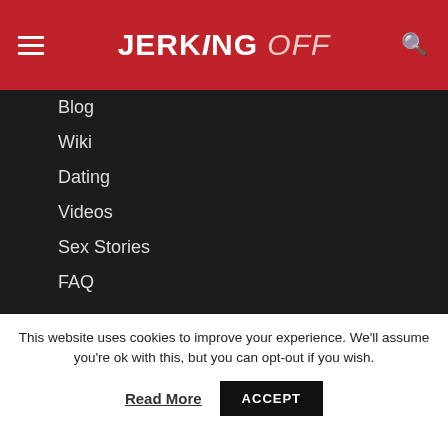JERKING Off
Blog
Wiki
Dating
Videos
Sex Stories
FAQ
Type here to search...
Follow Me
[Figure (illustration): Social media icons: Facebook (blue circle with f), Twitter (light blue circle with bird), YouTube (red circle with play button)]
This website uses cookies to improve your experience. We'll assume you're ok with this, but you can opt-out if you wish.
Read More   ACCEPT